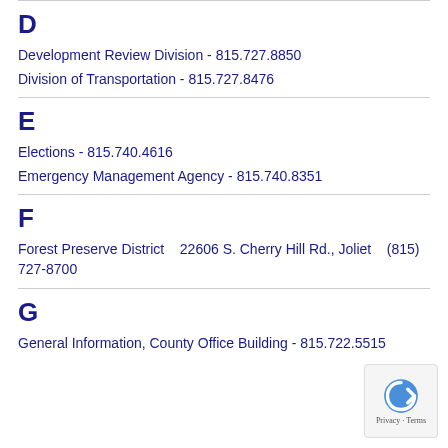D
Development Review Division - 815.727.8850
Division of Transportation - 815.727.8476
E
Elections - 815.740.4616
Emergency Management Agency - 815.740.8351
F
Forest Preserve District   22606 S. Cherry Hill Rd., Joliet   (815) 727-8700
G
General Information, County Office Building - 815.722.5515